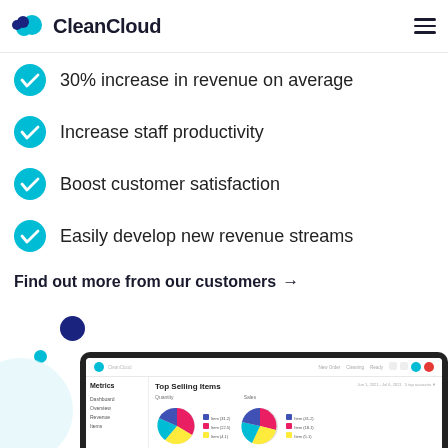CleanCloud
30% increase in revenue on average
Increase staff productivity
Boost customer satisfaction
Easily develop new revenue streams
Find out more from our customers →
[Figure (screenshot): Screenshot of CleanCloud dashboard showing Metrics sidebar and Top Selling Items section with pie charts for Quantity and Sales]